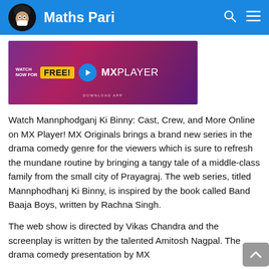Maths Pari
[Figure (screenshot): MX Player promotional banner: WATCH NOW FOR FREE! with play button and MXPLAYER branding on purple/pink gradient background]
Watch Mannphodganj Ki Binny: Cast, Crew, and More Online on MX Player! MX Originals brings a brand new series in the drama comedy genre for the viewers which is sure to refresh the mundane routine by bringing a tangy tale of a middle-class family from the small city of Prayagraj. The web series, titled Mannphodhanj Ki Binny, is inspired by the book called Band Baaja Boys, written by Rachna Singh.
The web show is directed by Vikas Chandra and the screenplay is written by the talented Amitosh Nagpal. The drama comedy presentation by MX